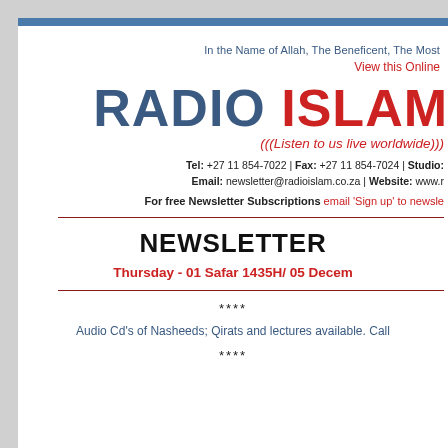In the Name of Allah, The Beneficent, The Most
View this Online
RADIO ISLAM
(((Listen to us live worldwide)))
Tel: +27 11 854-7022 | Fax: +27 11 854-7024 | Studio: Email: newsletter@radioislam.co.za | Website: www.r
For free Newsletter Subscriptions email 'Sign up' to newsle
NEWSLETTER
Thursday - 01 Safar 1435H/ 05 Decem
****
Audio Cd's of Nasheeds; Qirats and lectures available. Call
****